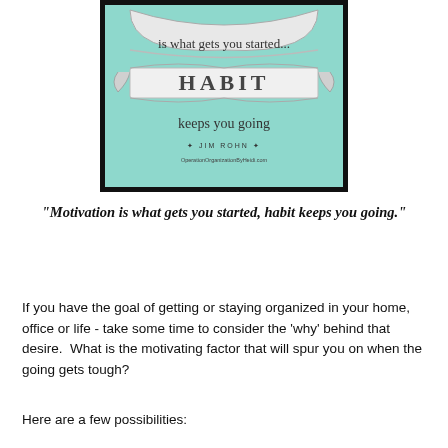[Figure (illustration): A decorative motivational quote poster with mint/teal green background. A scroll/banner ribbon in grey/white contains the word 'HABIT' in large serif letters. Above the ribbon, cursive text reads 'is what gets you started...' and below reads 'keeps you going'. Attribution reads '+ JIM ROHN +' and 'OperationOrganizationByHeidi.com' at the bottom. The poster has a thick black border.]
"Motivation is what gets you started, habit keeps you going."
If you have the goal of getting or staying organized in your home, office or life - take some time to consider the 'why' behind that desire.  What is the motivating factor that will spur you on when the going gets tough?
Here are a few possibilities: